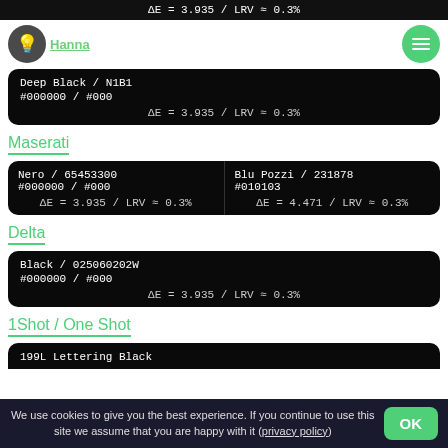ΔE = 3.935 / LRV ≈ 0.3%
Hanna (logo with lightbulb icon and menu icon)
Deep Black / N1B1
#000000 / #000
ΔE = 3.935 / LRV ≈ 0.3%
Maserati
Nero / 65453300
#000000 / #000
ΔE = 3.935 / LRV ≈ 0.3%
Blu Pozzi / 231878
#010103
ΔE = 4.471 / LRV ≈ 0.3%
Delta
Black / 025060202W
#000000 / #000
ΔE = 3.935 / LRV ≈ 0.3%
1Shot / One Shot
199L Lettering Black
We use cookies to give you the best experience. If you continue to use this site we assume that you are happy with it (privacy policy)